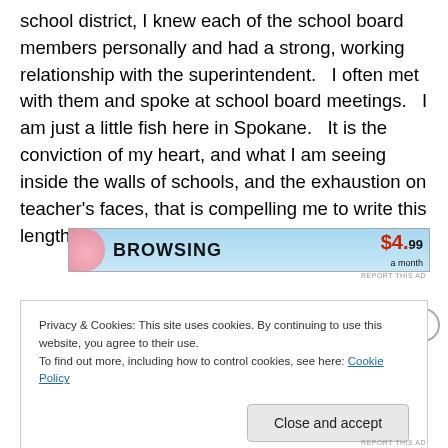school district, I knew each of the school board members personally and had a strong, working relationship with the superintendent.   I often met with them and spoke at school board meetings.   I am just a little fish here in Spokane.   It is the conviction of my heart, and what I am seeing inside the walls of schools, and the exhaustion on teacher's faces, that is compelling me to write this lengthy letter to you.
[Figure (screenshot): Advertisement banner with text 'BROWSING' and price '$4.99 a month']
Privacy & Cookies: This site uses cookies. By continuing to use this website, you agree to their use.
To find out more, including how to control cookies, see here: Cookie Policy
Close and accept